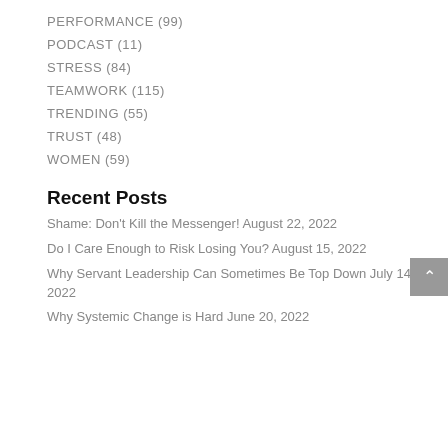PERFORMANCE (99)
PODCAST (11)
STRESS (84)
TEAMWORK (115)
TRENDING (55)
TRUST (48)
WOMEN (59)
Recent Posts
Shame: Don't Kill the Messenger! August 22, 2022
Do I Care Enough to Risk Losing You? August 15, 2022
Why Servant Leadership Can Sometimes Be Top Down July 14, 2022
Why Systemic Change is Hard June 20, 2022